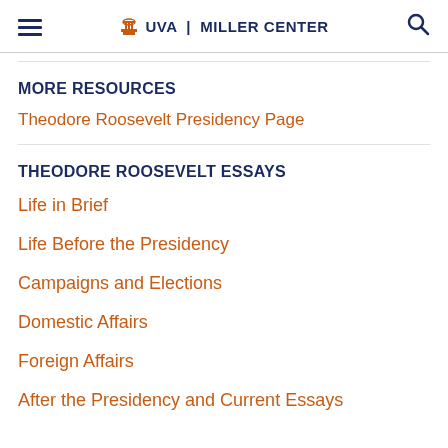UVA | MILLER CENTER
MORE RESOURCES
Theodore Roosevelt Presidency Page
THEODORE ROOSEVELT ESSAYS
Life in Brief
Life Before the Presidency
Campaigns and Elections
Domestic Affairs
Foreign Affairs
After the Presidency and Current Essays